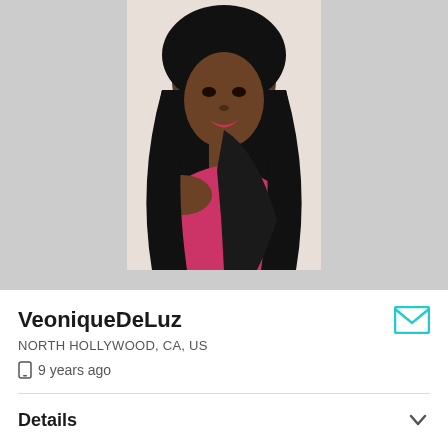[Figure (photo): Profile photo of VeoniqueDeLuz, a young woman with long black hair wearing a pink top, selfie style photo against a light background, displayed on a gray background.]
VeoniqueDeLuz
NORTH HOLLYWOOD, CA, US
9 years ago
Details